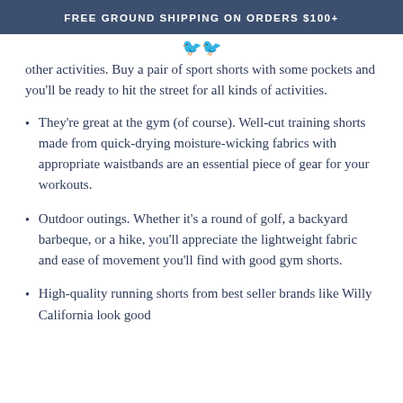FREE GROUND SHIPPING ON ORDERS $100+
other activities. Buy a pair of sport shorts with some pockets and you'll be ready to hit the street for all kinds of activities.
They're great at the gym (of course). Well-cut training shorts made from quick-drying moisture-wicking fabrics with appropriate waistbands are an essential piece of gear for your workouts.
Outdoor outings. Whether it's a round of golf, a backyard barbeque, or a hike, you'll appreciate the lightweight fabric and ease of movement you'll find with good gym shorts.
High-quality running shorts from best seller brands like Willy California look good